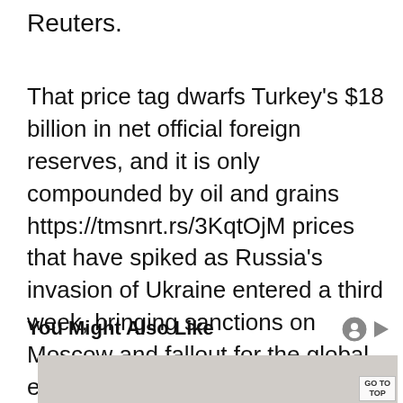Reuters.
That price tag dwarfs Turkey's $18 billion in net official foreign reserves, and it is only compounded by oil and grains https://tmsnrt.rs/3KqtOjM prices that have spiked as Russia's invasion of Ukraine entered a third week, bringing sanctions on Moscow and fallout for the global economy.
You Might Also Like
[Figure (photo): Advertisement image showing a partial view of a person's hand/body, with a GO TO TOP button overlay in the bottom right corner.]